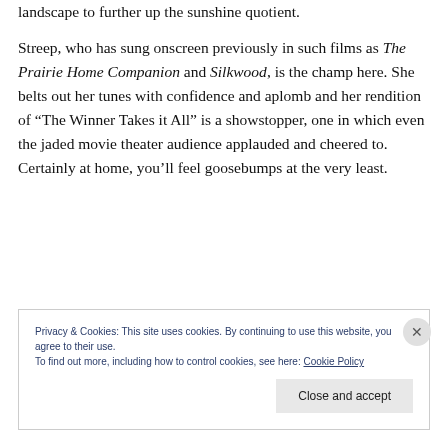landscape to further up the sunshine quotient.
Streep, who has sung onscreen previously in such films as The Prairie Home Companion and Silkwood, is the champ here. She belts out her tunes with confidence and aplomb and her rendition of “The Winner Takes it All” is a showstopper, one in which even the jaded movie theater audience applauded and cheered to. Certainly at home, you’ll feel goosebumps at the very least.
Privacy & Cookies: This site uses cookies. By continuing to use this website, you agree to their use. To find out more, including how to control cookies, see here: Cookie Policy